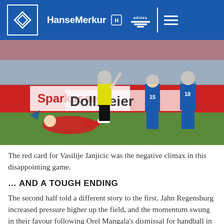HSV | HanseMerkur | adidas
[Figure (photo): Football match scene: a referee stands over a fallen player in red/white kit while two HSV players in blue stand nearby on a green pitch with advertising boards showing 'Sparkasse' and 'Dollmeier' in the background.]
The red card for Vasilije Janjicic was the negative climax in this disappointing game.
... AND A TOUGH ENDING
The second half told a different story to the first. Jahn Regensburg increased pressure higher up the field, and the momentum swung in their favour following Orel Mangala's dismissal for handball in the 69th minute. As a result, the HSV